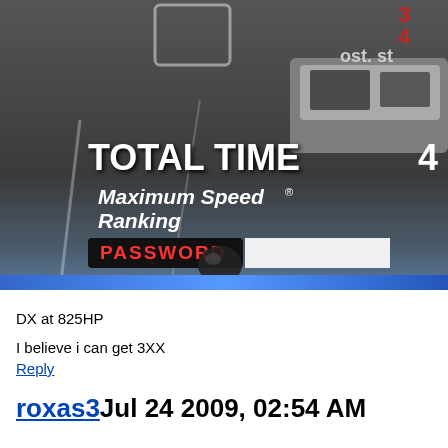[Figure (screenshot): Screenshot of a racing video game showing a results screen with 'TOTAL TIME' text, 'Maximum Speed', 'Ranking', and a 'PASSWORD' label with input field. A car is visible on a road background. Numbers '3' and '4' visible top right along with partial text 'ost. st'.]
DX at 825HP
I believe i can get 3XX
Reply
roxas3Jul 24 2009, 02:54 AM